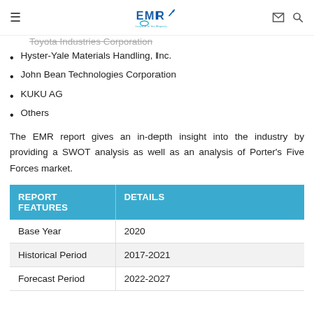EMR — Leave it to the Experts
Toyota Industries Corporation
Hyster-Yale Materials Handling, Inc.
John Bean Technologies Corporation
KUKU AG
Others
The EMR report gives an in-depth insight into the industry by providing a SWOT analysis as well as an analysis of Porter's Five Forces market.
| REPORT FEATURES | DETAILS |
| --- | --- |
| Base Year | 2020 |
| Historical Period | 2017-2021 |
| Forecast Period | 2022-2027 |